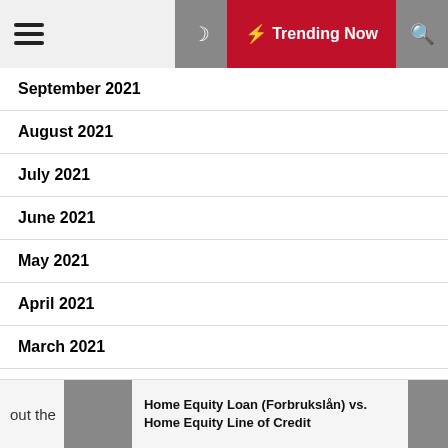Trending Now
September 2021
August 2021
July 2021
June 2021
May 2021
April 2021
March 2021
Home Equity Loan (Forbrukslån) vs. Home Equity Line of Credit